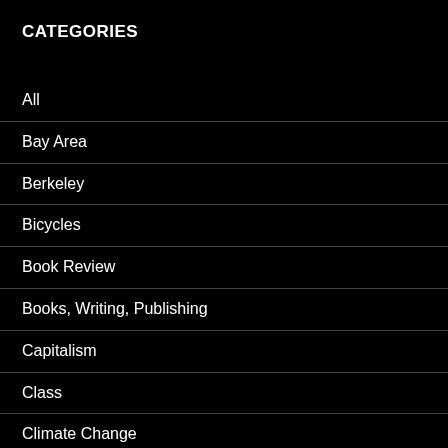CATEGORIES
All
Bay Area
Berkeley
Bicycles
Book Review
Books, Writing, Publishing
Capitalism
Class
Climate Change
Concerts